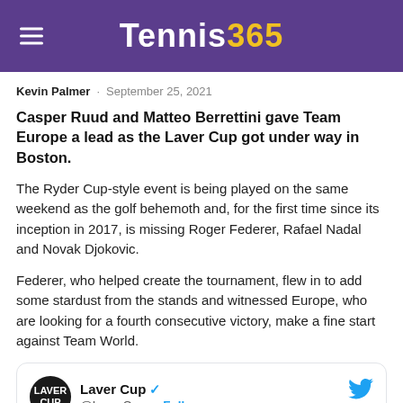Tennis365
Kevin Palmer · September 25, 2021
Casper Ruud and Matteo Berrettini gave Team Europe a lead as the Laver Cup got under way in Boston.
The Ryder Cup-style event is being played on the same weekend as the golf behemoth and, for the first time since its inception in 2017, is missing Roger Federer, Rafael Nadal and Novak Djokovic.
Federer, who helped create the tournament, flew in to add some stardust from the stands and witnessed Europe, who are looking for a fourth consecutive victory, make a fine start against Team World.
[Figure (screenshot): Embedded tweet from @LaverCup showing account name 'Laver Cup' with verified badge and Follow button, and tweet text beginning 'A welcome quest.']